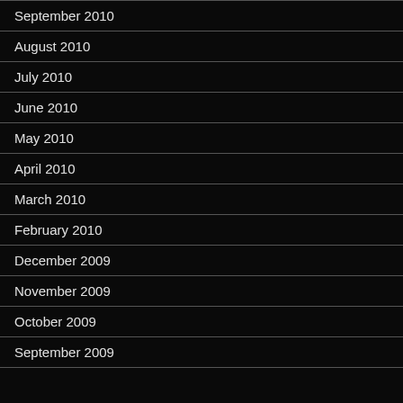September 2010
August 2010
July 2010
June 2010
May 2010
April 2010
March 2010
February 2010
December 2009
November 2009
October 2009
September 2009